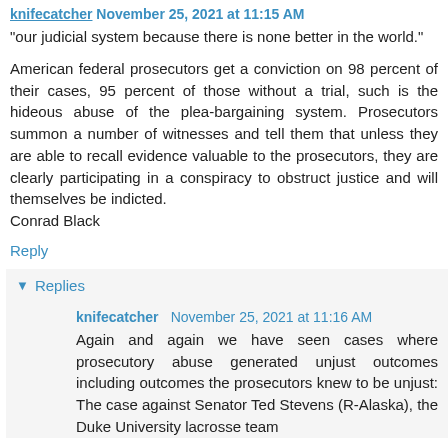knifecatcher November 25, 2021 at 11:15 AM
"our judicial system because there is none better in the world."
American federal prosecutors get a conviction on 98 percent of their cases, 95 percent of those without a trial, such is the hideous abuse of the plea-bargaining system. Prosecutors summon a number of witnesses and tell them that unless they are able to recall evidence valuable to the prosecutors, they are clearly participating in a conspiracy to obstruct justice and will themselves be indicted.
Conrad Black
Reply
Replies
knifecatcher November 25, 2021 at 11:16 AM
Again and again we have seen cases where prosecutory abuse generated unjust outcomes including outcomes the prosecutors knew to be unjust: The case against Senator Ted Stevens (R-Alaska), the Duke University lacrosse team